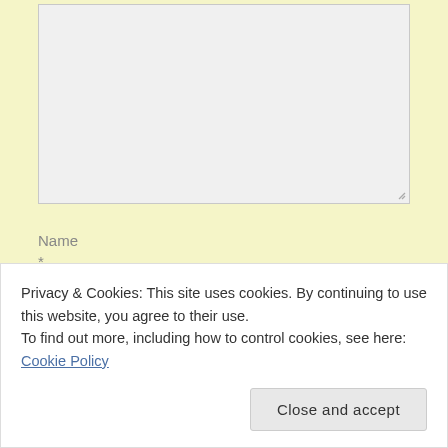[Figure (screenshot): A large empty textarea input field with a resize handle in the bottom-right corner, on a light gray background.]
Name
*
[Figure (screenshot): A single-line text input field, partially visible, on a light gray background.]
Privacy & Cookies: This site uses cookies. By continuing to use this website, you agree to their use.
To find out more, including how to control cookies, see here: Cookie Policy
Close and accept